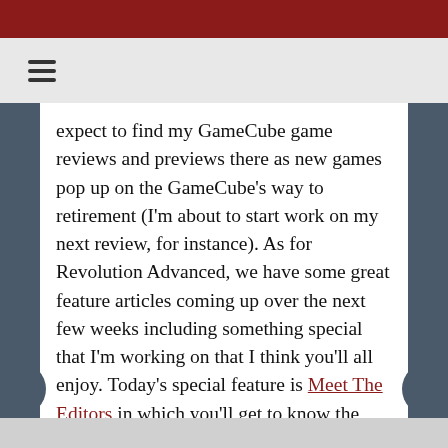expect to find my GameCube game reviews and previews there as new games pop up on the GameCube's way to retirement (I'm about to start work on my next review, for instance).  As for Revolution Advanced, we have some great feature articles coming up over the next few weeks including something special that I'm working on that I think you'll all enjoy.  Today's special feature is Meet The Editors in which you'll get to know the folks running the show at the new channel.  The best is yet to come though, so stay with us at the Advanced Media Network for all kinds of great new things.